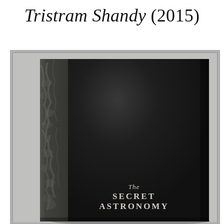Tristram Shandy (2015)
[Figure (photo): Photograph of a hardcover book titled 'The Secret Astronomy' with a dark black textured cover and a decorative marbled spine, photographed against a light grey background. The book is shown at a slight angle, with the spine visible on the left side.]